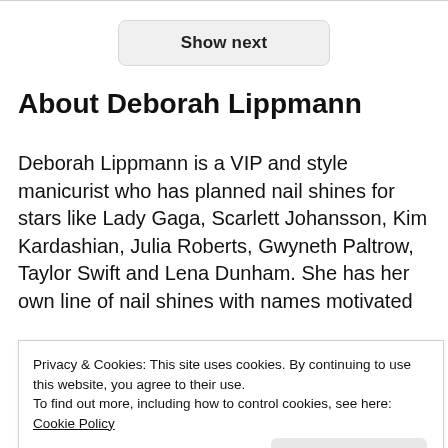[Figure (screenshot): Show next button — rounded rectangle button with light gray background and text 'Show next']
About Deborah Lippmann
Deborah Lippmann is a VIP and style manicurist who has planned nail shines for stars like Lady Gaga, Scarlett Johansson, Kim Kardashian, Julia Roberts, Gwyneth Paltrow, Taylor Swift and Lena Dunham. She has her own line of nail shines with names motivated
Privacy & Cookies: This site uses cookies. By continuing to use this website, you agree to their use.
To find out more, including how to control cookies, see here:
Cookie Policy
Close and accept
world's most remarkable ladies, Kate Winslet, Reese